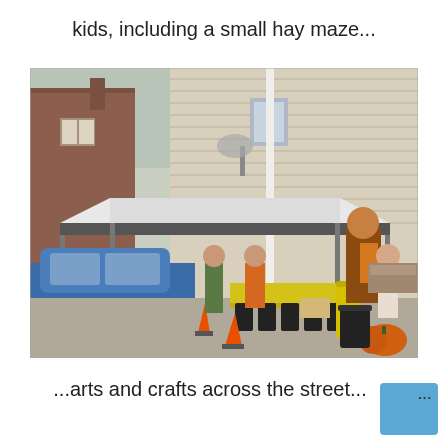kids, including a small hay maze...
[Figure (photo): Outdoor street scene with a white pop-up canopy tent, folding chairs, yellow-tablecloth tables, a blue SUV, orange traffic cones, a yellow bollard, a decorative figure, a woman walking, and a pumpkin on the ground. Buildings visible in the background.]
...arts and crafts across the street...